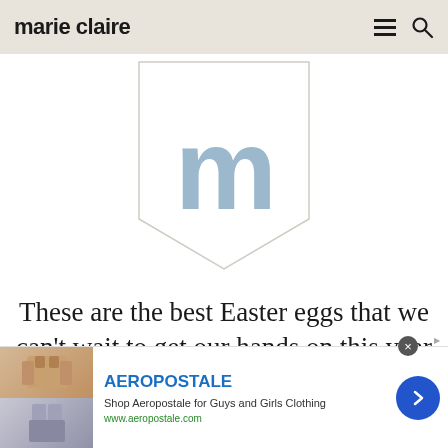marie claire
[Figure (logo): Marie Claire 'm' shield/badge logo in light steel blue on white pentagon-shield shape]
These are the best Easter eggs that we can't wait to get our hands on this year
[Figure (screenshot): Advertisement banner for Aeropostale: 'Shop Aeropostale for Guys and Girls Clothing', www.aeropostale.com, with clothing images on the left and a blue arrow button on the right]